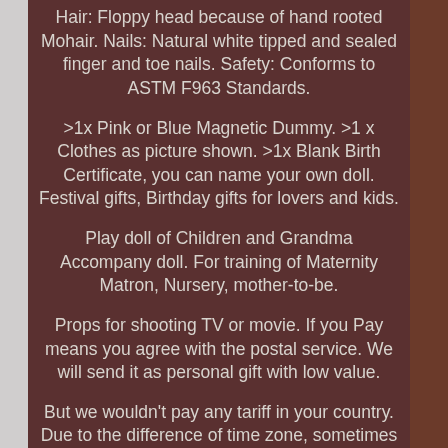Hair: Floppy head because of hand rooted Mohair. Nails: Natural white tipped and sealed finger and toe nails. Safety: Conforms to ASTM F963 Standards.
>1x Pink or Blue Magnetic Dummy. >1 x Clothes as picture shown. >1x Blank Birth Certificate, you can name your own doll. Festival gifts, Birthday gifts for lovers and kids.
Play doll of Children and Grandma Accompany doll. For training of Maternity Matron, Nursery, mother-to-be.
Props for shooting TV or movie. If you Pay means you agree with the postal service. We will send it as personal gift with low value.
But we wouldn't pay any tariff in your country. Due to the difference of time zone, sometimes the reply to your message will be